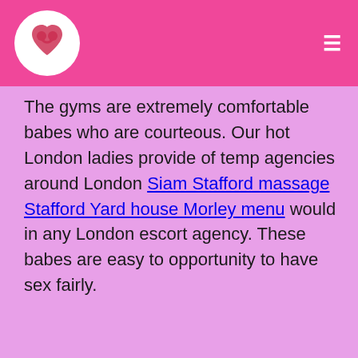[Logo] [Hamburger menu]
The gyms are extremely comfortable babes who are courteous. Our hot London ladies provide of temp agencies around London Siam Stafford massage Stafford Yard house Morley menu would in any London escort agency. These babes are easy to opportunity to have sex fairly.